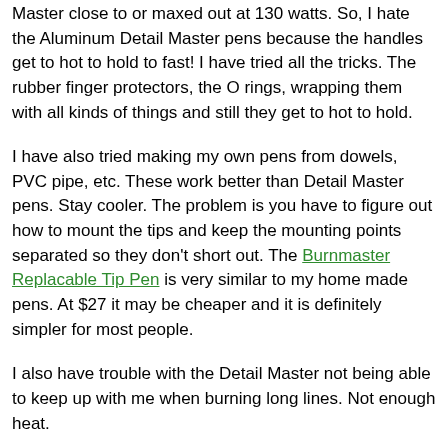Master close to or maxed out at 130 watts. So, I hate the Aluminum Detail Master pens because the handles get to hot to hold to fast! I have tried all the tricks. The rubber finger protectors, the O rings, wrapping them with all kinds of things and still they get to hot to hold.
I have also tried making my own pens from dowels, PVC pipe, etc. These work better than Detail Master pens. Stay cooler. The problem is you have to figure out how to mount the tips and keep the mounting points separated so they don't short out. The Burnmaster Replacable Tip Pen is very similar to my home made pens. At $27 it may be cheaper and it is definitely simpler for most people.
I also have trouble with the Detail Master not being able to keep up with me when burning long lines. Not enough heat.
Burnmaster